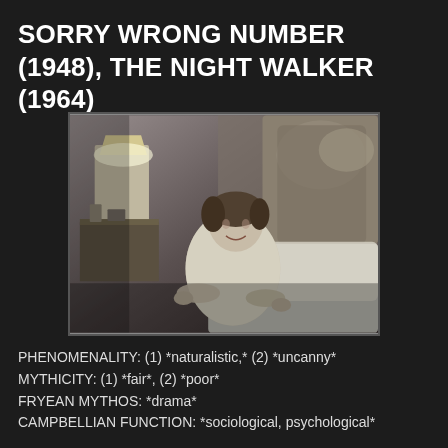SORRY WRONG NUMBER (1948), THE NIGHT WALKER (1964)
[Figure (photo): Black and white still from a film showing a woman in a lacy nightgown or robe leaning forward on a bed, with a lamp and ornate headboard visible in the background.]
PHENOMENALITY: (1) *naturalistic,* (2) *uncanny*
MYTHICITY: (1) *fair*, (2) *poor*
FRYEAN MYTHOS: *drama*
CAMPBELLIAN FUNCTION: *sociological, psychological*